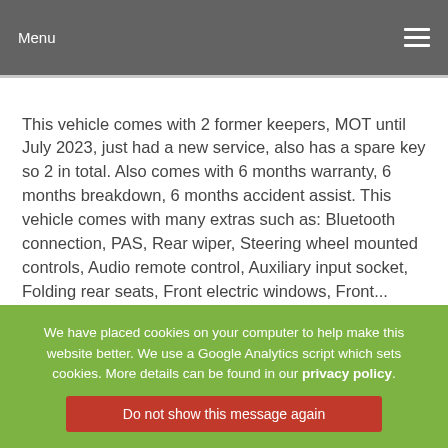Menu
This vehicle comes with 2 former keepers, MOT until July 2023, just had a new service, also has a spare key so 2 in total. Also comes with 6 months warranty, 6 months breakdown, 6 months accident assist. This vehicle comes with many extras such as: Bluetooth connection, PAS, Rear wiper, Steering wheel mounted controls, Audio remote control, Auxiliary input socket, Folding rear seats, Front electric windows, Front... READ MORE
View Full Details
We have placed cookies on your computer to help make this website better. We use a Google Analytics script which sets cookies. More details can be found in our privacy policy.
Do not show this message again